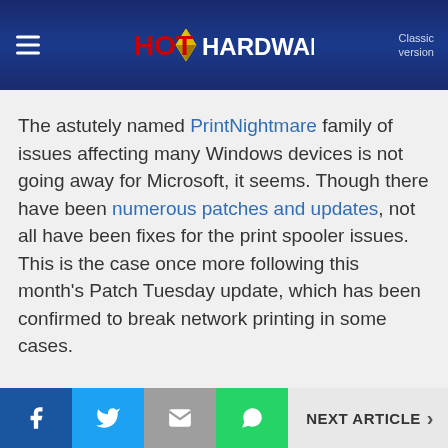HotHardware — Classic version
The astutely named PrintNightmare family of issues affecting many Windows devices is not going away for Microsoft, it seems. Though there have been numerous patches and updates, not all have been fixes for the print spooler issues. This is the case once more following this month's Patch Tuesday update, which has been confirmed to break network printing in some cases.
Facebook | Twitter | Email | WhatsApp | NEXT ARTICLE >